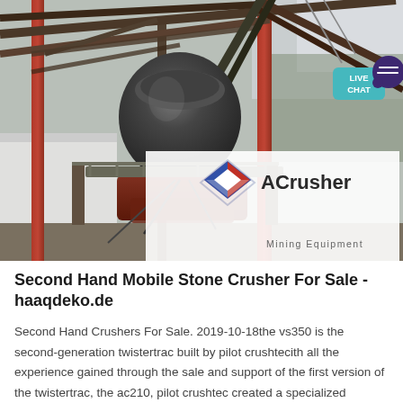[Figure (photo): Industrial mining site with a large stone crusher/cone crusher machine elevated on a steel frame structure. Red steel vertical pillars visible, diagonal conveyor belts in background. White building on left side. Sky visible in upper right. ACrusher Mining Equipment logo overlaid in bottom right. Live Chat button visible in upper right corner.]
Second Hand Mobile Stone Crusher For Sale - haaqdeko.de
Second Hand Crushers For Sale. 2019-10-18the vs350 is the second-generation twistertrac built by pilot crushtecith all the experience gained through the sale and support of the first version of the twistertrac, the ac210, pilot crushtec created a specialized machine that is yet unmatched by any other track mounted vsi crusher.